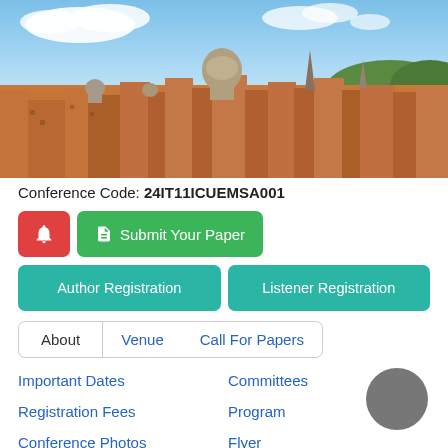[Figure (photo): Aerial panoramic view of Rome, Italy, showing historic buildings, terracotta rooftops, domes and blue sky with clouds]
Conference Code: 24IT11ICUEMSA001
Submit Your Paper
Author Registration
Listener Registration
About
Venue
Call For Papers
Important Dates
Committees
Registration Fees
Program
Conference Photos
Flyer